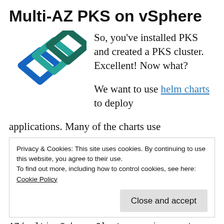Multi-AZ PKS on vSphere
[Figure (logo): VMware PKS logo — three overlapping diamond/square shapes in blue, teal, and dark green]
So, you've installed PKS and created a PKS cluster.  Excellent!  Now what?
We want to use helm charts to deploy applications.  Many of the charts use
Privacy & Cookies: This site uses cookies. By continuing to use this website, you agree to their use.
To find out more, including how to control cookies, see here:
Cookie Policy
[Close and accept]
AZ/multi-vSphere-Cluster environment.  First